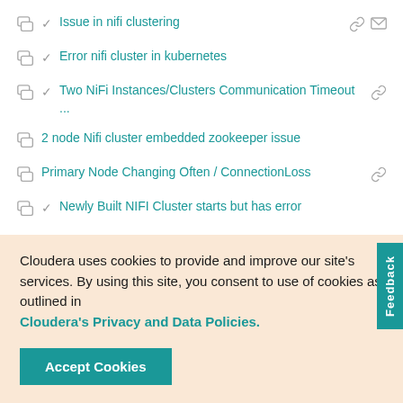Issue in nifi clustering
Error nifi cluster in kubernetes
Two NiFi Instances/Clusters Communication Timeout ...
2 node Nifi cluster embedded zookeeper issue
Primary Node Changing Often / ConnectionLoss
Newly Built NIFI Cluster starts but has error
Nifi and Clustering
Cloudera uses cookies to provide and improve our site's services. By using this site, you consent to use of cookies as outlined in Cloudera's Privacy and Data Policies.
Accept Cookies